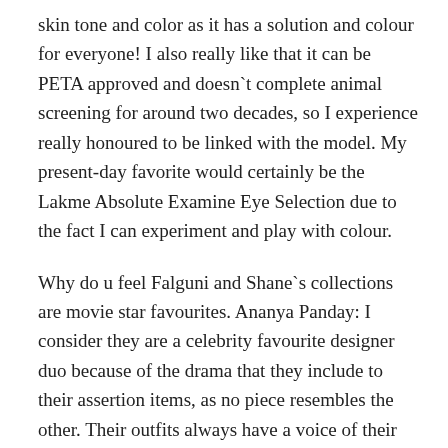skin tone and color as it has a solution and colour for everyone! I also really like that it can be PETA approved and doesn`t complete animal screening for around two decades, so I experience really honoured to be linked with the model. My present-day favorite would certainly be the Lakme Absolute Examine Eye Selection due to the fact I can experiment and play with colour.
Why do u feel Falguni and Shane`s collections are movie star favourites. Ananya Panday: I consider they are a celebrity favourite designer duo because of the drama that they include to their assertion items, as no piece resembles the other. Their outfits always have a voice of their very own. &#13
&#13